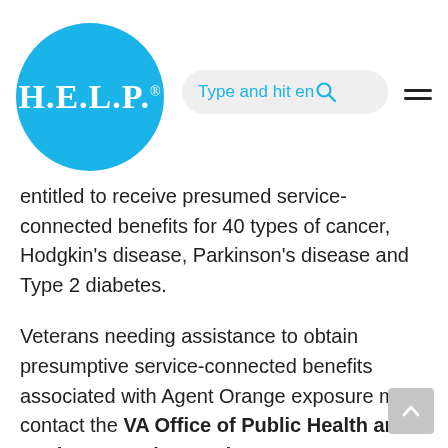[Figure (logo): H.E.L.P. logo — white text on cyan/blue circle with registered trademark symbol]
entitled to receive presumed service-connected benefits for 40 types of cancer, Hodgkin's disease, Parkinson's disease and Type 2 diabetes.
Veterans needing assistance to obtain presumptive service-connected benefits associated with Agent Orange exposure may contact the VA Office of Public Health and Environmental Hazards at publichealth.va.gov.